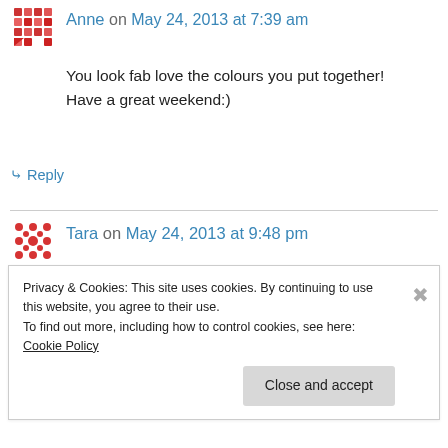Anne on May 24, 2013 at 7:39 am
You look fab love the colours you put together! Have a great weekend:)
↳ Reply
Tara on May 24, 2013 at 9:48 pm
I love the pattern on that dress! Thanks for linking up!
Tara
Privacy & Cookies: This site uses cookies. By continuing to use this website, you agree to their use.
To find out more, including how to control cookies, see here: Cookie Policy